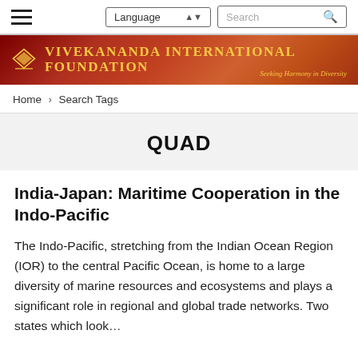Language | Search
[Figure (logo): Vivekananda International Foundation logo and banner with text 'VIVEKANANDA INTERNATIONAL FOUNDATION' and tagline 'Seeking Harmony in Diversity']
Home > Search Tags
QUAD
India-Japan: Maritime Cooperation in the Indo-Pacific
The Indo-Pacific, stretching from the Indian Ocean Region (IOR) to the central Pacific Ocean, is home to a large diversity of marine resources and ecosystems and plays a significant role in regional and global trade networks. Two states which look...